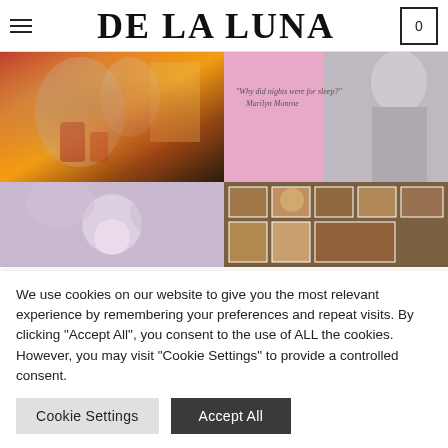DE LA LUNA
[Figure (photo): Fashion photo with colorful clothing and shoes on dark background]
[Figure (photo): Pink background with Marilyn Monroe figure and quote: 'Why did nights were for sleep?' - Marilyn Monroe]
[Figure (photo): Flowers and circular element, soft purple tones]
[Figure (photo): Collage of photos on wall with warm brown tones]
We use cookies on our website to give you the most relevant experience by remembering your preferences and repeat visits. By clicking "Accept All", you consent to the use of ALL the cookies. However, you may visit "Cookie Settings" to provide a controlled consent.